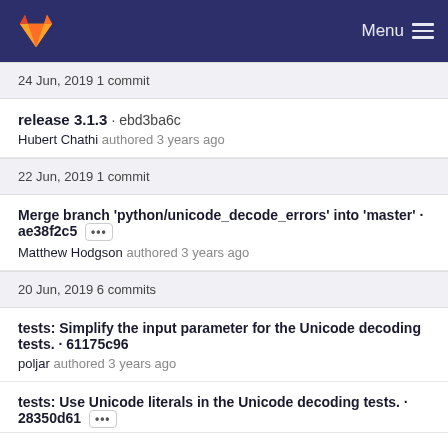GitLab — Menu
24 Jun, 2019 1 commit
release 3.1.3 · ebd3ba6c
Hubert Chathi authored 3 years ago
22 Jun, 2019 1 commit
Merge branch 'python/unicode_decode_errors' into 'master' · ae38f2c5 [...]
Matthew Hodgson authored 3 years ago
20 Jun, 2019 6 commits
tests: Simplify the input parameter for the Unicode decoding tests. · 61175c96
poljar authored 3 years ago
tests: Use Unicode literals in the Unicode decoding tests. · 28350d61 [...]